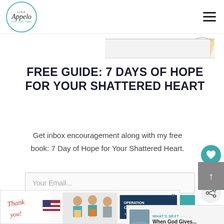[Figure (logo): Lisa Appelo logo — circular with teal border, script name and tagline 'Faith, Grief, Hope.']
[Figure (illustration): Partial image of what appears to be a notebook or journal with a pencil, top of page]
FREE GUIDE: 7 DAYS OF HOPE FOR YOUR SHATTERED HEART
Get inbox encouragement along with my free book: 7 Day of Hope for Your Shattered Heart.
Your Email...
SUBSCRIBE
[Figure (photo): Advertisement banner: 'Thank you!' with Operation Gratitude branding and people holding packages]
[Figure (screenshot): WHAT'S NEXT arrow label with thumbnail and 'When God Gives...' text]
[Figure (other): Gray box with up arrow, scroll-to-top button]